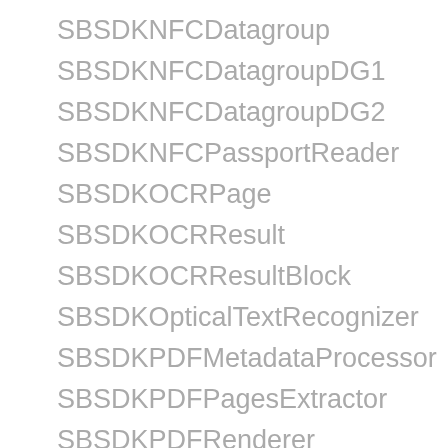SBSDKNFCDatagroup
SBSDKNFCDatagroupDG1
SBSDKNFCDatagroupDG2
SBSDKNFCPassportReader
SBSDKOCRPage
SBSDKOCRResult
SBSDKOCRResultBlock
SBSDKOpticalTextRecognizer
SBSDKPDFMetadataProcessor
SBSDKPDFPagesExtractor
SBSDKPDFRenderer
SBSDKPageAnalyzerResult
SBSDKPayFormRecognitionResult
SBSDKPayFormRecognizedField
SBSDKPayFormScanner
SBSDKPayFormToken
SBSDKPol…